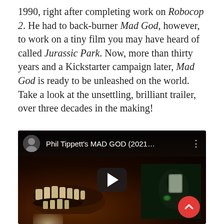1990, right after completing work on Robocop 2. He had to back-burner Mad God, however, to work on a tiny film you may have heard of called Jurassic Park. Now, more than thirty years and a Kickstarter campaign later, Mad God is ready to be unleashed on the world. Take a look at the unsettling, brilliant trailer, over three decades in the making!
[Figure (screenshot): YouTube video thumbnail/player showing Phil Tippett's MAD GOD (2021...) with a dark creature image and a play button overlay. A circular user avatar is shown in the top-left corner next to the video title.]